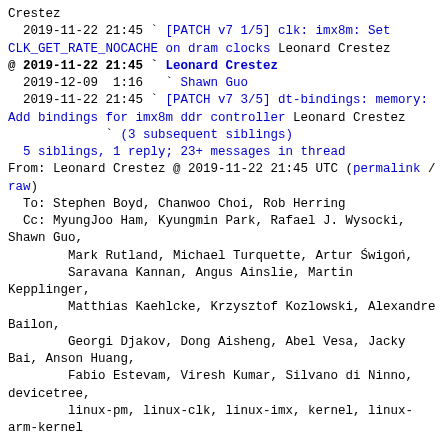Crestez
  2019-11-22 21:45 ` [PATCH v7 1/5] clk: imx8m: Set CLK_GET_RATE_NOCACHE on dram clocks Leonard Crestez
@ 2019-11-22 21:45 ` Leonard Crestez
  2019-12-09  1:16   ` Shawn Guo
  2019-11-22 21:45 ` [PATCH v7 3/5] dt-bindings: memory: Add bindings for imx8m ddr controller Leonard Crestez
             ` (3 subsequent siblings)
  5 siblings, 1 reply; 23+ messages in thread
From: Leonard Crestez @ 2019-11-22 21:45 UTC (permalink / raw)
  To: Stephen Boyd, Chanwoo Choi, Rob Herring
  Cc: MyungJoo Ham, Kyungmin Park, Rafael J. Wysocki, Shawn Guo,
        Mark Rutland, Michael Turquette, Artur Świgoń,
        Saravana Kannan, Angus Ainslie, Martin Kepplinger,
        Matthias Kaehlcke, Krzysztof Kozlowski, Alexandre Bailon,
        Georgi Djakov, Dong Aisheng, Abel Vesa, Jacky Bai, Anson Huang,
        Fabio Estevam, Viresh Kumar, Silvano di Ninno, devicetree,
        linux-pm, linux-clk, linux-imx, kernel, linux-arm-kernel

DRAM frequency switches are executed in firmware and can change the
configuration of the DRAM PLL outside linux. Mark these
clk with